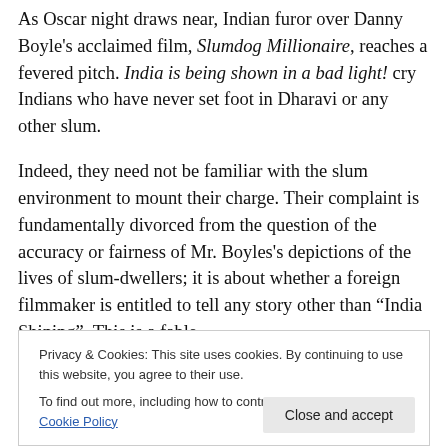As Oscar night draws near, Indian furor over Danny Boyle's acclaimed film, Slumdog Millionaire, reaches a fevered pitch. India is being shown in a bad light! cry Indians who have never set foot in Dharavi or any other slum.
Indeed, they need not be familiar with the slum environment to mount their charge. Their complaint is fundamentally divorced from the question of the accuracy or fairness of Mr. Boyles's depictions of the lives of slum-dwellers; it is about whether a foreign filmmaker is entitled to tell any story other than "India Shining". This is a fable since.
Privacy & Cookies: This site uses cookies. By continuing to use this website, you agree to their use. To find out more, including how to control cookies, see here: Cookie Policy